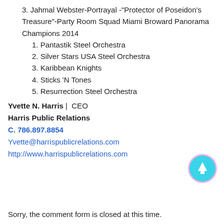3. Jahmal Webster-Portrayal -"Protector of Poseidon's Treasure"-Party Room Squad Miami Broward Panorama Champions 2014
1. Pantastik Steel Orchestra
2. Silver Stars USA Steel Orchestra
3. Karibbean Knights
4. Sticks 'N Tones
5. Resurrection Steel Orchestra
Yvette N. Harris |  CEO
Harris Public Relations
C. 786.897.8854
Yvette@harrispublicrelations.com
http://www.harrispublicrelations.com
Sorry, the comment form is closed at this time.